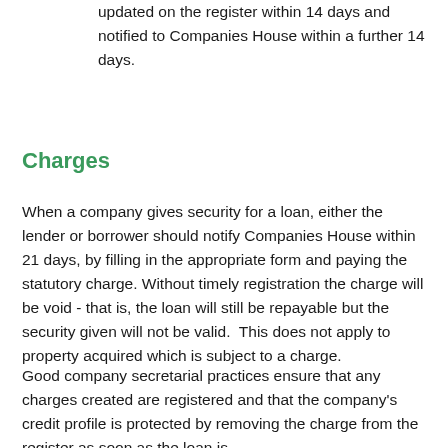updated on the register within 14 days and notified to Companies House within a further 14 days.
Charges
When a company gives security for a loan, either the lender or borrower should notify Companies House within 21 days, by filling in the appropriate form and paying the statutory charge. Without timely registration the charge will be void - that is, the loan will still be repayable but the security given will not be valid.  This does not apply to property acquired which is subject to a charge.
Good company secretarial practices ensure that any charges created are registered and that the company's credit profile is protected by removing the charge from the register as soon as the loan is